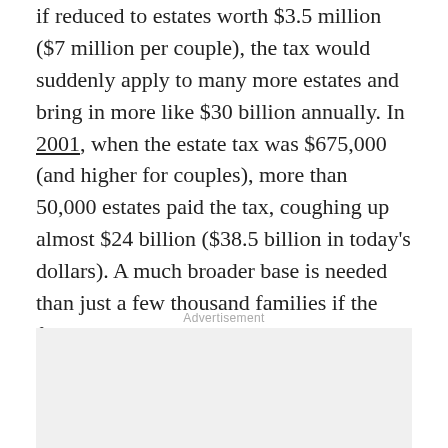if reduced to estates worth $3.5 million ($7 million per couple), the tax would suddenly apply to many more estates and bring in more like $30 billion annually. In 2001, when the estate tax was $675,000 (and higher for couples), more than 50,000 estates paid the tax, coughing up almost $24 billion ($38.5 billion in today's dollars). A much broader base is needed than just a few thousand families if the federal government wants to generate any significant amount of revenue, something Warren won't readily admit.
Advertisement
[Figure (other): Advertisement placeholder box with light gray background]
* * *
But it's more than just politically unpopular for Democrats to sic the IRS on their reliable-voter constituents: it also